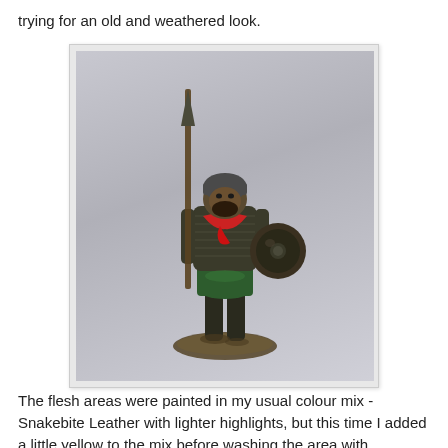trying for an old and weathered look.
[Figure (photo): A painted miniature figurine of a dwarf warrior wearing chainmail armor, holding a spear and a round shield. The figure has a red scarf, green tunic, dark helmet, and stands on a base. The miniature has a dark, weathered metallic finish.]
The flesh areas were painted in my usual colour mix - Snakebite Leather with lighter highlights, but this time I added a little yellow to the mix before washing the area with